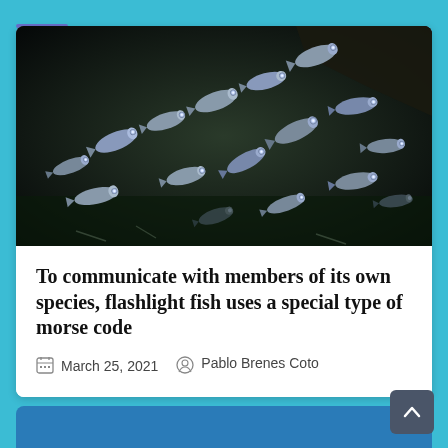[Figure (photo): School of flashlight fish (small silvery fish with reflective eyes) swimming in a dark underwater cave environment]
To communicate with members of its own species, flashlight fish uses a special type of morse code
March 25, 2021   Pablo Brenes Coto